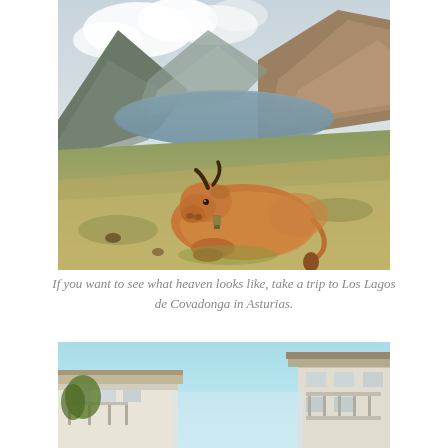[Figure (photo): A brown cow resting on a green grassy hillside beside a mountain lake, with misty mountains in the background. Los Lagos de Covadonga, Asturias.]
If you want to see what heaven looks like, take a trip to Los Lagos de Covadonga in Asturias.
[Figure (photo): A street-level view of white buildings with balconies under a clear blue sky, partial view of architecture.]